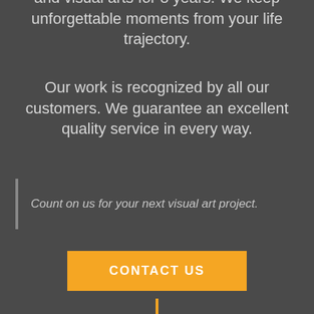and visual arts for 8 years. We keep unforgettable moments from your life trajectory.
Our work is recognized by all our customers. We guarantee an excellent quality service in every way.
Count on us for your next visual art project.
CONTACT US